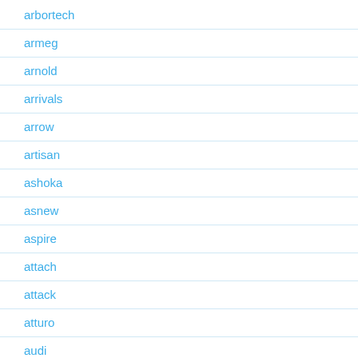arbortech
armeg
arnold
arrivals
arrow
artisan
ashoka
asnew
aspire
attach
attack
atturo
audi